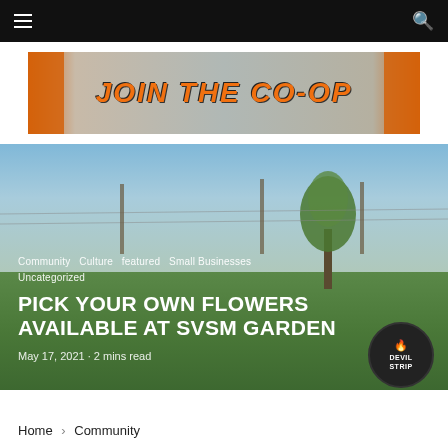≡  [navigation bar]  🔍
[Figure (illustration): JOIN THE CO-OP banner ad with orange text on city skyline background with orange accent strips on sides]
[Figure (photo): Outdoor photo of a community garden or open field with blue sky, trees in the background, and green grass with a person crouching in the foreground]
Community  Culture  featured  Small Businesses  Uncategorized
PICK YOUR OWN FLOWERS AVAILABLE AT SVSM GARDEN
May 17, 2021 · 2 mins read
[Figure (logo): Devil Strip circular logo with white text DEVIL STRIP on dark background with flame icon]
Home  >  Community